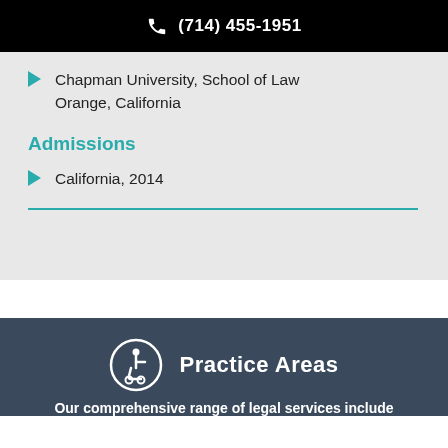(714) 455-1951
Chapman University, School of Law
Orange, California
Admissions
California, 2014
Practice Areas
Our comprehensive range of legal services include